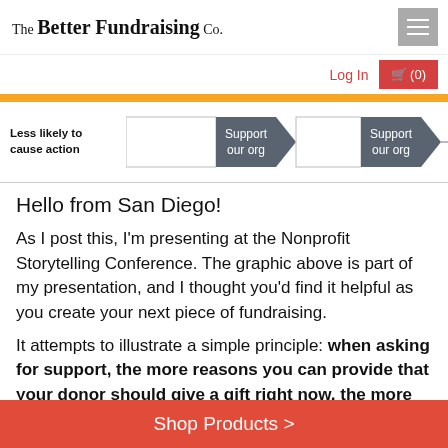The Better Fundraising Co.
[Figure (infographic): Diagram showing arrows labeled 'Support our org' with label 'Less likely to cause action' on the left side]
Hello from San Diego!
As I post this, I'm presenting at the Nonprofit Storytelling Conference. The graphic above is part of my presentation, and I thought you'd find it helpful as you create your next piece of fundraising.
It attempts to illustrate a simple principle: when asking for support, the more reasons you can provide that your donor should give a gift right now, the more
Shop Products >